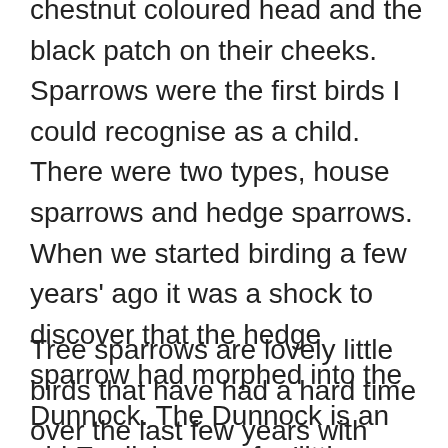chestnut coloured head and the black patch on their cheeks. Sparrows were the first birds I could recognise as a child. There were two types, house sparrows and hedge sparrows. When we started birding a few years' ago it was a shock to discover that the hedge sparrow had morphed into the Dunnock. The Dunnock is an old English name for 'little brown bird' a forerunner of 'lbj', or little brown job, a catch all description for – little brown birds.
Tree sparrows are lovely little birds that have had a hard time over the last few years with numbers dropping catastrophically. There are a number of